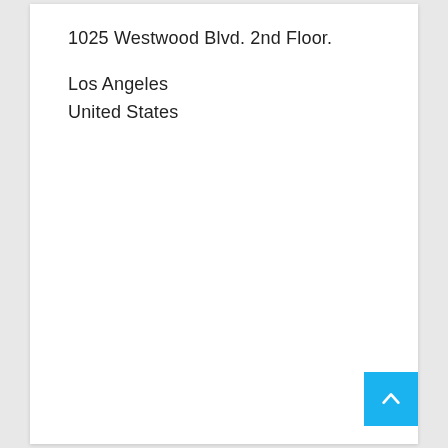1025 Westwood Blvd. 2nd Floor.
Los Angeles
United States
[Figure (other): Blue back-to-top button with white upward chevron arrow in bottom right corner]